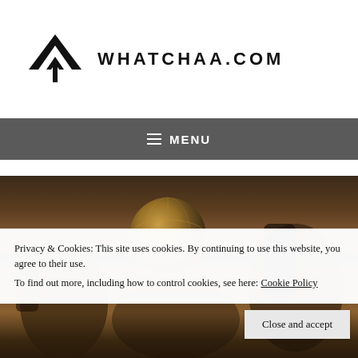[Figure (logo): WHATCHAA.COM logo with stylized W chevron mark in black, followed by the text WHATCHAA.COM in bold spaced caps]
≡ MENU
[Figure (photo): Dark oil painting depicting figures around a large golden globe or armillary sphere, in warm dark tones]
Privacy & Cookies: This site uses cookies. By continuing to use this website, you agree to their use.
To find out more, including how to control cookies, see here: Cookie Policy
Close and accept